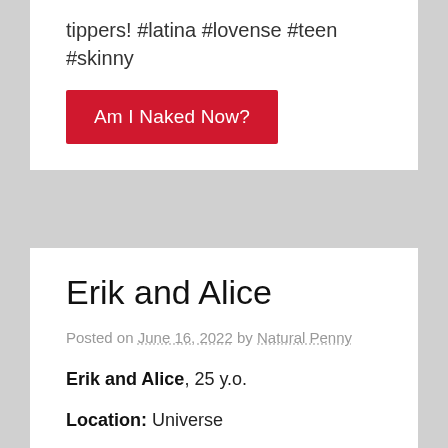tippers! #latina #lovense #teen #skinny
Am I Naked Now?
Erik and Alice
Posted on June 16, 2022 by Natural Penny
Erik and Alice, 25 y.o.
Location: Universe
Room subject: Will SHOW ALL off , when I'll feel good enough #Squirt #OhMiBod #young #pantyhose #inwardly18
Am I Naked Now?